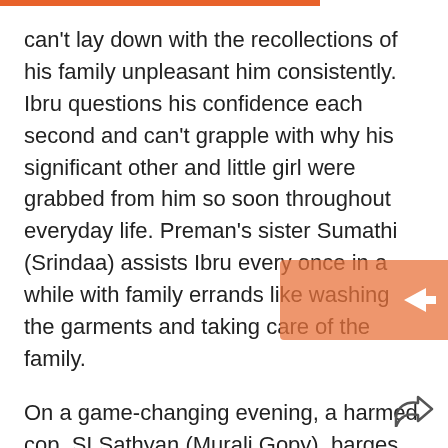can't lay down with the recollections of his family unpleasant him consistently. Ibru questions his confidence each second and can't grapple with why his significant other and little girl were grabbed from him so soon throughout everyday life. Preman's sister Sumathi (Srindaa) assists Ibru every once in a while with family errands like washing the garments and taking care of the family.
On a game-changing evening, a harmed cop, SI Sathyan (Murali Gopy), barges into Ibrahim's home with a detainee, Vishnu (Sagar Surya). With everybody locked inside the house, the inquiry emerges - how far will you go to save yourself.